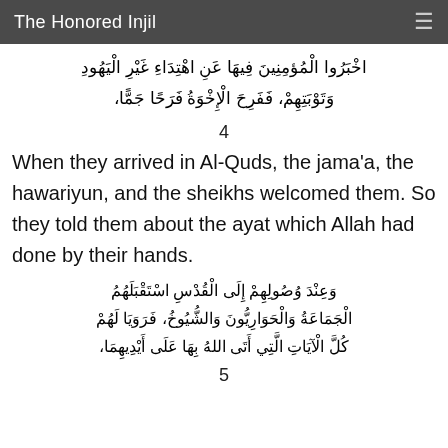The Honored Injil
اخْبَرُوا الْمُؤمِنِينَ فِيهَا عَنِ اهْتِدَاءِ غَيْرِ الْيَهُودِ وَتَوْبَتِهِمْ، فَفَرِحَ الْإِخْوَةُ فَرَحًا جَمًّا،
4
When they arrived in Al-Quds, the jama'a, the hawariyun, and the sheikhs welcomed them. So they told them about the ayat which Allah had done by their hands.
وَعِنْدَ وُصُولِهِمْ إِلَى الْقُدْسِ اسْتَقْبَلَهُمُ الْجَمَاعَةُ وَالْحَوَارِيُّونَ وَالشُّيُوخُ، فَرَوَيَا لَهُمْ كُلَّ الْآيَاتِ الَّتِي أَتَى اللهُ بِهَا عَلَى أَيْدِيهِمَا،
5